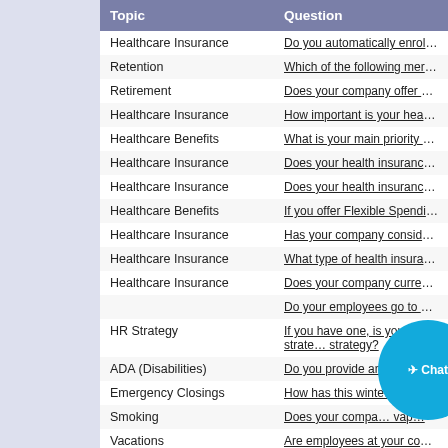| Topic | Question |
| --- | --- |
| Healthcare Insurance | Do you automatically enroll empl… |
| Retention | Which of the following merits rec… |
| Retirement | Does your company offer a 401(k… |
| Healthcare Insurance | How important is your healthcare… |
| Healthcare Benefits | What is your main priority this yea… |
| Healthcare Insurance | Does your health insurance plan … |
| Healthcare Insurance | Does your health insurance plan … |
| Healthcare Benefits | If you offer Flexible Spending Acc… |
| Healthcare Insurance | Has your company considered of… |
| Healthcare Insurance | What type of health insurance pla… |
| Healthcare Insurance | Does your company currently offe… |
|  | Do your employees go to work si… |
| HR Strategy | If you have one, is your HR strate… strategy? |
| ADA (Disabilities) | Do you provide an environment in… |
| Emergency Closings | How has this winte… you… |
| Smoking | Does your compa… vap… |
| Vacations | Are employees at your company… |